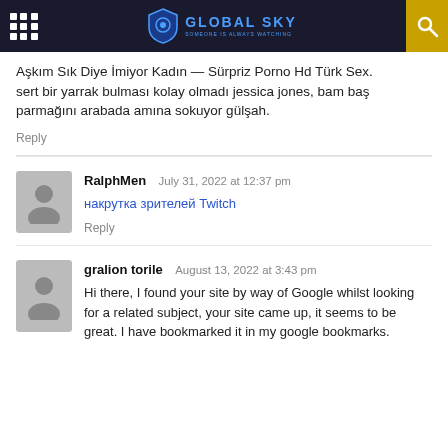GLOBAL SKY — SOMEONE IS ALWAYS WATCHING
Aşkım Sık Diye İmiyor Kadın — Sürpriz Porno Hd Türk Sex.
sert bir yarrak bulması kolay olmadı jessica jones, bam baş parmağını arabada amına sokuyor gülşah.
Reply
RalphMen  July 31, 2022 at 12:37 pm
накрутка зрителей Twitch
Reply
gralion torile  August 13, 2022 at 3:43 pm
Hi there, I found your site by way of Google whilst looking for a related subject, your site came up, it seems to be great. I have bookmarked it in my google bookmarks.